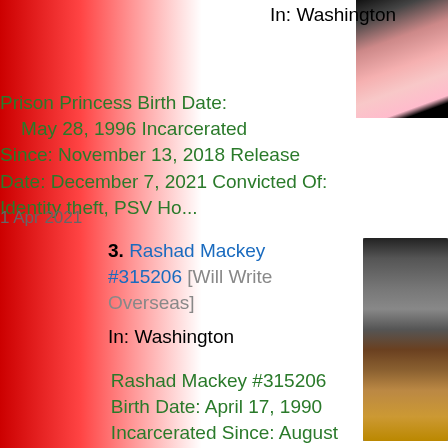[Figure (photo): Partial photo of a person wearing pink clothing with a black strap, top portion visible]
In: Washington
Prison Princess Birth Date: May 28, 1996 Incarcerated Since: November 13, 2018 Release Date: December 7, 2021 Convicted Of: Identity theft, PSV Ho...
1 Apr 2021
3. Rashad Mackey #315206 [Will Write Overseas]
In: Washington
[Figure (photo): Mugshot photo of Rashad Mackey, a young Black male with dreadlocks, wearing an orange outfit]
Rashad Mackey #315206 Birth Date: April 17, 1990 Incarcerated Since: August 6, 2018 Release Date: July 5, 2025 Convicted Of: Assault 2 with firear...
18 Jul 2021